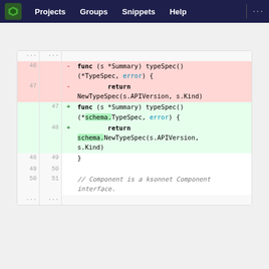Projects  Groups  Snippets  Help  ...
[Figure (screenshot): Git diff view showing removed and added lines for a Go function typeSpec() in a code diff viewer. Lines 46-50 removed (red), lines 47-51 added (green), followed by neutral lines 48-51 and a comment line.]
component/jsonnet.go
[Figure (screenshot): Git diff snippet for component/jsonnet.go showing hunk header @@ -72,43 +72,6 @@ func (j *Jsonnet) Name(wantsNameSpaced bool) string { with line 72 showing: return path.Join(j.module,]